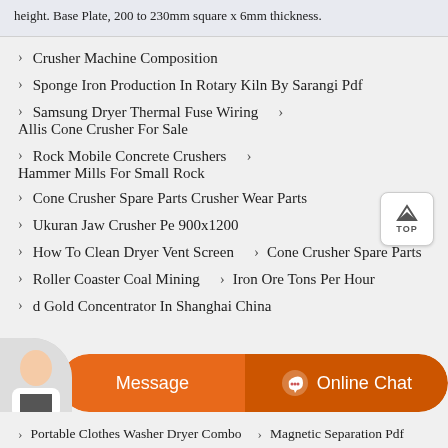height. Base Plate, 200 to 230mm square x 6mm thickness.
Crusher Machine Composition
Sponge Iron Production In Rotary Kiln By Sarangi Pdf
Samsung Dryer Thermal Fuse Wiring   > Allis Cone Crusher For Sale
Rock Mobile Concrete Crushers   > Hammer Mills For Small Rock
Cone Crusher Spare Parts Crusher Wear Parts
Ukuran Jaw Crusher Pe 900x1200
How To Clean Dryer Vent Screen   > Cone Crusher Spare Parts
Roller Coaster Coal Mining   > Iron Ore Tons Per Hour
d Gold Concentrator In Shanghai China
Portable Clothes Washer Dryer Combo   > Magnetic Separation Pdf